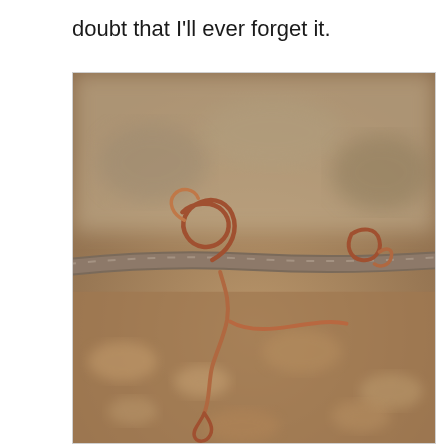doubt that I'll ever forget it.
[Figure (photo): Close-up photograph of a tree branch with two curled vine tendrils tied/knotted around it. The tendrils are reddish-brown and curl around the grey-brown branch in an intricate pattern. The background is blurred rocks and earth in warm brown tones.]